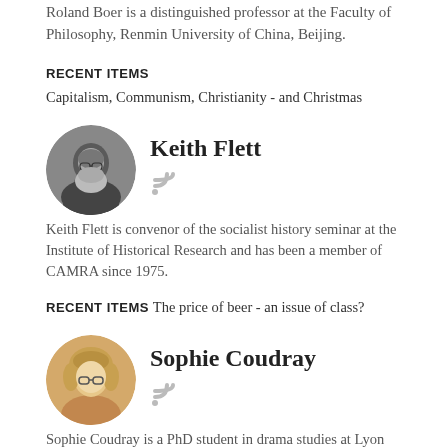Roland Boer is a distinguished professor at the Faculty of Philosophy, Renmin University of China, Beijing.
RECENT ITEMS
Capitalism, Communism, Christianity - and Christmas
Keith Flett
[Figure (photo): Circular avatar photo of Keith Flett, a man with grey hair and beard]
[Figure (other): RSS feed icon]
Keith Flett is convenor of the socialist history seminar at the Institute of Historical Research and has been a member of CAMRA since 1975.
RECENT ITEMS
The price of beer - an issue of class?
Sophie Coudray
[Figure (photo): Circular avatar photo of Sophie Coudray, a young woman with curly hair and glasses]
[Figure (other): RSS feed icon]
Sophie Coudray is a PhD student in drama studies at Lyon University, a member of the External Editorial Board of Période, and an activist